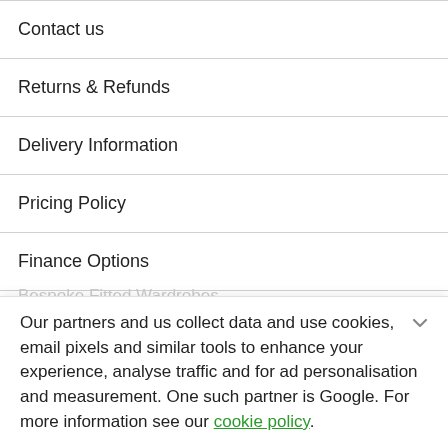Contact us
Returns & Refunds
Delivery Information
Pricing Policy
Finance Options
Book Your Kitchen Consultation
Bespoke Fitted Wardrobes
Our partners and us collect data and use cookies, email pixels and similar tools to enhance your experience, analyse traffic and for ad personalisation and measurement. One such partner is Google. For more information see our cookie policy.
Accept